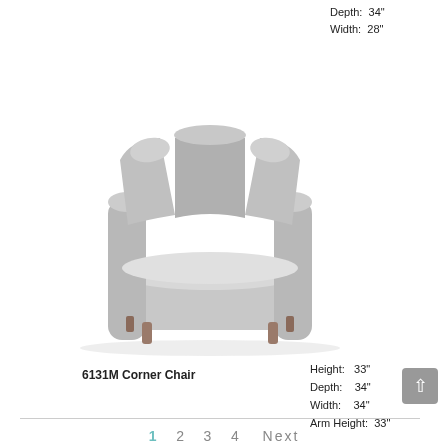Depth: 34"
Width: 28"
[Figure (photo): Gray upholstered corner chair with curved back, large seat cushion, and metallic legs, viewed from a three-quarter angle]
6131M Corner Chair
Height: 33"
Depth: 34"
Width: 34"
Arm Height: 33"
1  2  3  4  Next